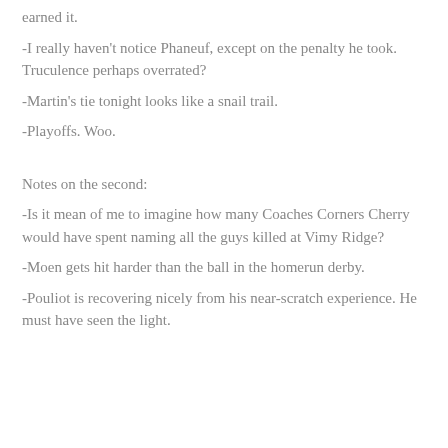earned it.
-I really haven't notice Phaneuf, except on the penalty he took. Truculence perhaps overrated?
-Martin's tie tonight looks like a snail trail.
-Playoffs. Woo.
Notes on the second:
-Is it mean of me to imagine how many Coaches Corners Cherry would have spent naming all the guys killed at Vimy Ridge?
-Moen gets hit harder than the ball in the homerun derby.
-Pouliot is recovering nicely from his near-scratch experience. He must have seen the light.